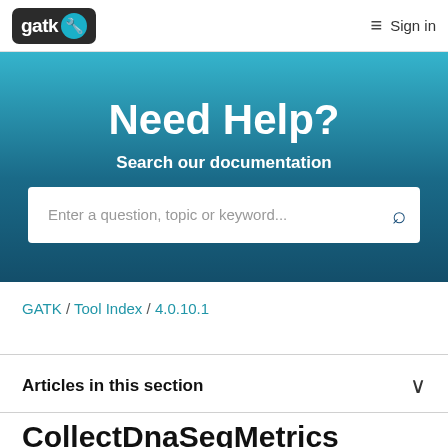gatk  ≡  Sign in
Need Help?
Search our documentation
Enter a question, topic or keyword...
GATK / Tool Index / 4.0.10.1
Articles in this section
CollectDnaSeqMetrics (Picard)